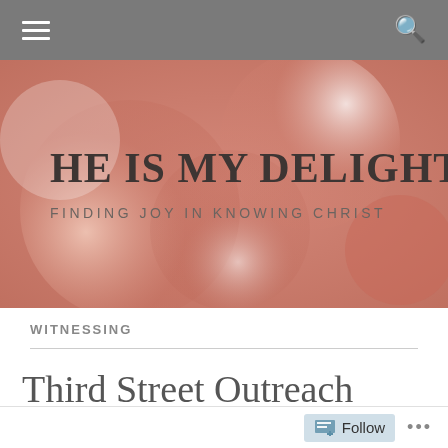[Figure (screenshot): Website navigation bar with hamburger menu icon on left and search icon on right, grey background]
[Figure (photo): Blurred bokeh background in warm pink/salmon tones with white light spots, overlaid with blog title 'HE IS MY DELIGHT' and subtitle 'FINDING JOY IN KNOWING CHRIST']
HE IS MY DELIGHT
FINDING JOY IN KNOWING CHRIST
WITNESSING
Third Street Outreach